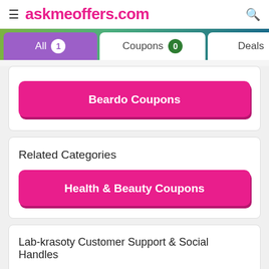askmeoffers.com
All 1  Coupons 0  Deals 1
Beardo Coupons
Related Categories
Health & Beauty Coupons
Lab-krasoty Customer Support & Social Handles
Tweet on  Twitter